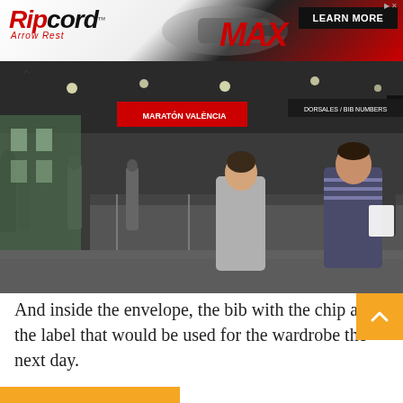[Figure (advertisement): Ripcord Arrow Rest MAX advertisement banner with red and black branding and LEARN MORE button]
[Figure (photo): Indoor photo of people standing at marathon bib number pickup counters in a large convention hall. Signs visible reading BIB NUMBERS and marathon branding. A woman in gray top and man in striped shirt are prominent in foreground.]
And inside the envelope, the bib with the chip and the label that would be used for the wardrobe the next day.